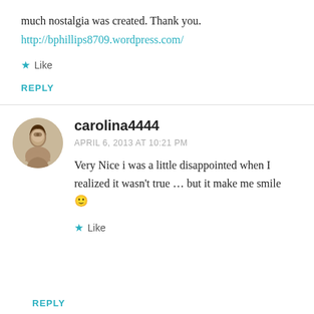much nostalgia was created. Thank you.
http://bphillips8709.wordpress.com/
★ Like
REPLY
[Figure (photo): Circular avatar photo of a woman with long dark hair]
carolina4444
APRIL 6, 2013 AT 10:21 PM
Very Nice i was a little disappointed when I realized it wasn't true ... but it make me smile 🙂
★ Like
REPLY